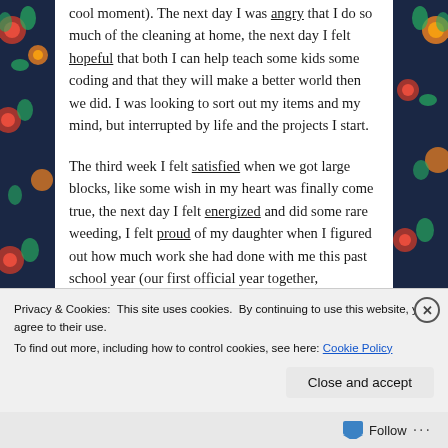cool moment). The next day I was angry that I do so much of the cleaning at home, the next day I felt hopeful that both I can help teach some kids some coding and that they will make a better world then we did. I was looking to sort out my items and my mind, but interrupted by life and the projects I start.

The third week I felt satisfied when we got large blocks, like some wish in my heart was finally come true, the next day I felt energized and did some rare weeding, I felt proud of my daughter when I figured out how much work she had done with me this past school year (our first official year together, homeschooling), I was (fixated) inspired to make oil and water charms with the kids, I felt serene at the
Privacy & Cookies: This site uses cookies. By continuing to use this website, you agree to their use.
To find out more, including how to control cookies, see here: Cookie Policy
Close and accept
Follow